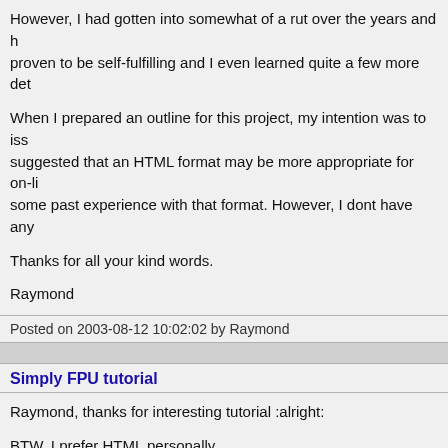However, I had gotten into somewhat of a rut over the years and h proven to be self-fulfilling and I even learned quite a few more det
When I prepared an outline for this project, my intention was to iss suggested that an HTML format may be more appropriate for on-li some past experience with that format. However, I dont have any
Thanks for all your kind words.
Raymond
Posted on 2003-08-12 10:02:02 by Raymond
Simply FPU tutorial
Raymond, thanks for interesting tutorial :alright:
BTW, I prefer HTML personally.
Posted on 2003-08-12 11:22:07 by MazeGen
Simply FPU tutorial
I dont.. too messy to hold onto in the HD, as well, a CHM is far si than a web page... but thats just me.
For those who think the same, here it is in CHM format.
Raymond